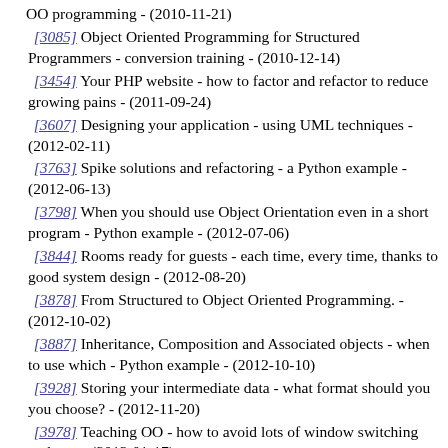OO programming - (2010-11-21)
[3085] Object Oriented Programming for Structured Programmers - conversion training - (2010-12-14)
[3454] Your PHP website - how to factor and refactor to reduce growing pains - (2011-09-24)
[3607] Designing your application - using UML techniques - (2012-02-11)
[3763] Spike solutions and refactoring - a Python example - (2012-06-13)
[3798] When you should use Object Orientation even in a short program - Python example - (2012-07-06)
[3844] Rooms ready for guests - each time, every time, thanks to good system design - (2012-08-20)
[3878] From Structured to Object Oriented Programming. - (2012-10-02)
[3887] Inheritance, Composition and Associated objects - when to use which - Python example - (2012-10-10)
[3928] Storing your intermediate data - what format should you you choose? - (2012-11-20)
[3978] Teaching OO - how to avoid lots of window switching early on - (2013-01-17)
[4098] Using object orientation for non-physical objects - (2013-05-22)
[4374] Test driven development, and class design, from first principles (using C++) - (2014-12-30)
[4430] The spirit of Java - delegating to classes - (2015-02-18)
[4449] Spike solution, refactoring into encapsulated object methods - good design practise - (2015-03-05)
[4628] Associative objects - one object within another. - (2016-01-20)